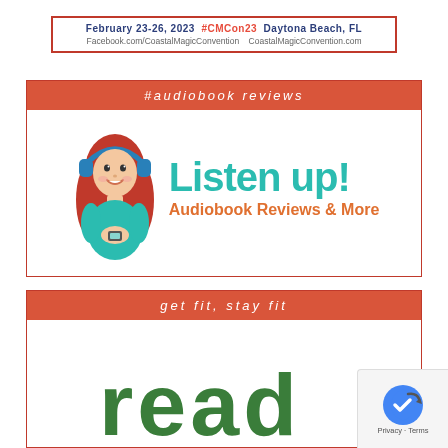[Figure (infographic): Coastal Magic Convention banner with text: February 23-26, 2023 #CMCon23 Daytona Beach, FL, Facebook.com/CoastalMagicConvention CoastalMagicConvention.com]
#audiobook reviews
[Figure (logo): Listen up! Audiobook Reviews & More logo with illustrated girl wearing headphones]
get fit, stay fit
[Figure (logo): Partial logo with large green letters 'read' visible at bottom]